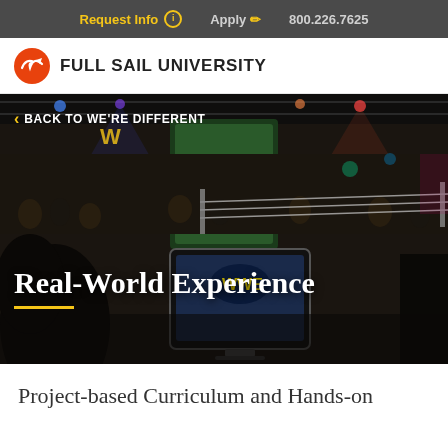Request Info  Apply  800.226.7625
[Figure (logo): Full Sail University logo — orange circle with white bird/arrow icon and text FULL SAIL UNIVERSITY]
[Figure (photo): WWE NXT wrestling event arena photo with camera operator in foreground. Large crowd in arena with wrestling ring visible. WWE NXT logo banner visible. A monitor screen shows WWE logo. Overlay text reads 'Real-World Experience' with yellow underline.]
< BACK TO WE'RE DIFFERENT
Real-World Experience
Project-based Curriculum and Hands-on